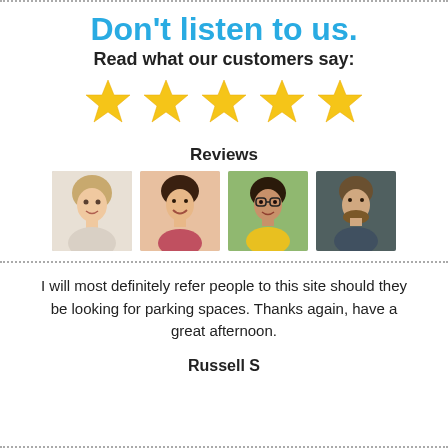Don't listen to us.
Read what our customers say:
[Figure (infographic): Five gold stars rating]
Reviews
[Figure (photo): Four customer headshot photos in a row]
I will most definitely refer people to this site should they be looking for parking spaces. Thanks again, have a great afternoon.
Russell S